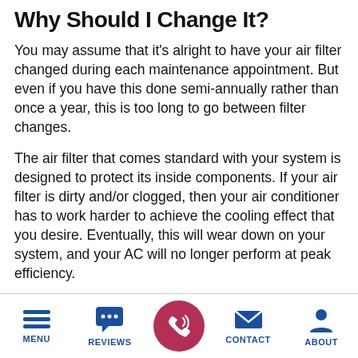Why Should I Change It?
You may assume that it's alright to have your air filter changed during each maintenance appointment. But even if you have this done semi-annually rather than once a year, this is too long to go between filter changes.
The air filter that comes standard with your system is designed to protect its inside components. If your air filter is dirty and/or clogged, then your air conditioner has to work harder to achieve the cooling effect that you desire. Eventually, this will wear down on your system, and your AC will no longer perform at peak efficiency.
MENU   REVIEWS   [CALL]   CONTACT   ABOUT